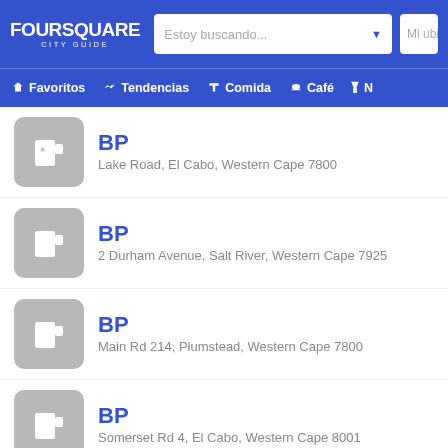FOURSQUARE CITY GUIDE — Estoy buscando... — Mi ubi
Favoritos  Tendencias  Comida  Café  N
BP — Lake Road, El Cabo, Western Cape 7800
BP — 2 Durham Avenue, Salt River, Western Cape 7925
BP — Main Rd 214, Plumstead, Western Cape 7800
BP — Somerset Rd 4, El Cabo, Western Cape 8001
BREW coffeeworks — 155 Loop Street (inside Allianz Francais building),